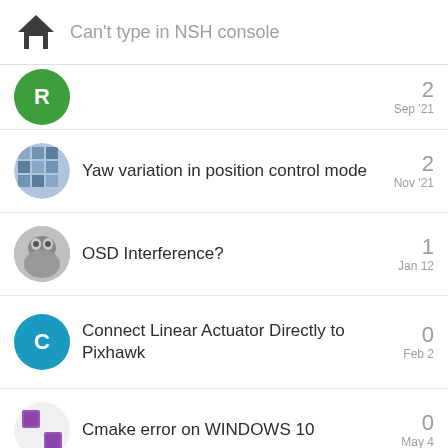Can't type in NSH console
2  Sep '21
Yaw variation in position control mode  2  Nov '21
OSD Interference?  1  Jan 12
Connect Linear Actuator Directly to Pixhawk  0  Feb 2
Cmake error on WINDOWS 10  0  May 4
Want to read more? Browse all categories or view latest topics.